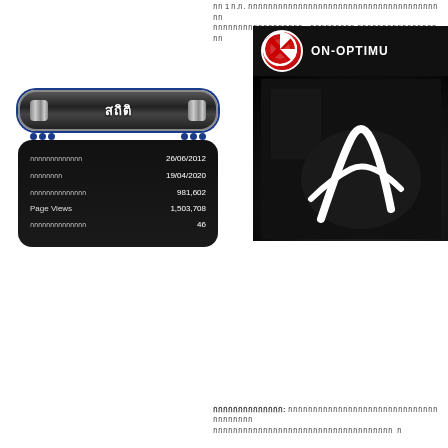Thai text content - top description text about ON-OPTIMU
[Figure (infographic): Stats widget with Thai header 'สถิติ' (Statistics) on dark metallic background showing site statistics]
| Label | Value |
| --- | --- |
| วันที่เปิดบล็อก | 26/06/2012 |
| วันที่เยี่ยม | 19/04/2020 |
| จำนวนผู้เยี่ยมชม | 981,602 |
| Page Views | 1,503,708 |
| จำนวนโพสต์ทั้งหมด | 46 |
[Figure (screenshot): Dark image showing ON-OPTIMU logo with red circle and white X, and a dark photo of a person]
Thai text content - bottom description and additional information